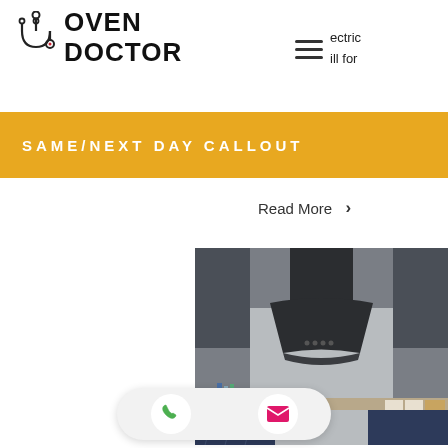[Figure (logo): Oven Doctor logo with stethoscope icon and bold text reading OVEN DOCTOR]
ectric
ill for
[Figure (infographic): Hamburger menu icon (three horizontal lines)]
SAME/NEXT DAY CALLOUT
Read More ›
[Figure (photo): Photo of a black kitchen extractor/cooker hood mounted between dark grey kitchen cabinets with a light grey splashback]
[Figure (infographic): Bottom CTA bar with phone icon (green) and email/envelope icon (pink/magenta) on a white pill-shaped background]